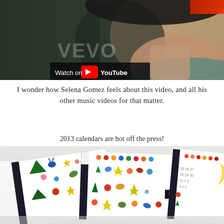[Figure (screenshot): YouTube video thumbnail showing a close-up of a person's face with 'Watch on YouTube' overlay]
I wonder how Selena Gomez feels about this video, and all his other music videos for that matter.
2013 calendars are hot off the press!
[Figure (photo): Close-up photo of colorful holiday/Christmas calendars with festive icons like reindeer, snowflakes, stars, trees, arranged in a fanned-out layout on a white surface]